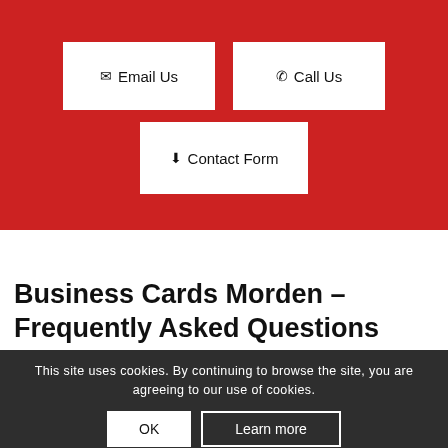[Figure (infographic): Red background section with three white contact buttons: Email Us, Call Us, and Contact Form]
Business Cards Morden – Frequently Asked Questions
This site uses cookies. By continuing to browse the site, you are agreeing to our use of cookies.
Can you provide double sided business card pri...